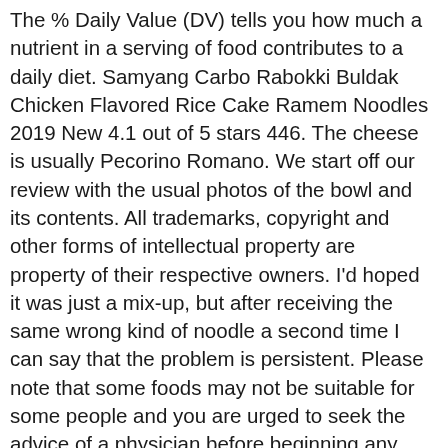The % Daily Value (DV) tells you how much a nutrient in a serving of food contributes to a daily diet. Samyang Carbo Rabokki Buldak Chicken Flavored Rice Cake Ramem Noodles 2019 New 4.1 out of 5 stars 446. The cheese is usually Pecorino Romano. We start off our review with the usual photos of the bowl and its contents. All trademarks, copyright and other forms of intellectual property are property of their respective owners. I'd hoped it was just a mix-up, but after receiving the same wrong kind of noodle a second time I can say that the problem is persistent. Please note that some foods may not be suitable for some people and you are urged to seek the advice of a physician before beginning any weight loss effort or diet regimen. 2,000 calories a day is used for general nutrition advice. Leaves a nice little bit of red oil floating on top of the broth and has a nice flavor under all the heat as well. A creamy and tasty addition to the popular range. Give these noodles a shot. Top subscription boxes – right to your door, © 1996-2020, Amazon.com, Inc. or its affiliates. There's a problem loading this menu right now. Return noodles